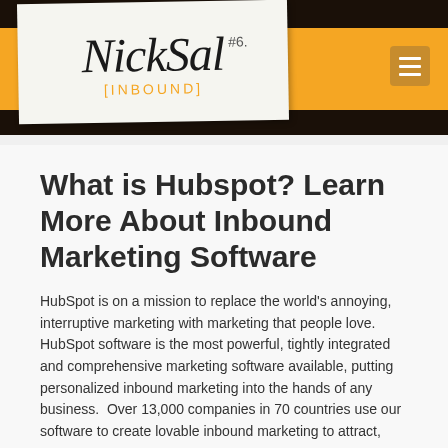[Figure (logo): NickSal [INBOUND] logo on white card with #6 notation, overlaid on dark brown background with orange bar and hamburger menu icon]
What is Hubspot? Learn More About Inbound Marketing Software
HubSpot is on a mission to replace the world's annoying, interruptive marketing with marketing that people love. HubSpot software is the most powerful, tightly integrated and comprehensive marketing software available, putting personalized inbound marketing into the hands of any business.  Over 13,000 companies in 70 countries use our software to create lovable inbound marketing to attract,